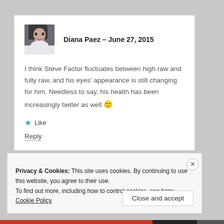Diana Paez – June 27, 2015
I think Steve Factor fluctuates between high raw and fully raw, and his eyes' appearance is still changing for him. Needless to say, his health has been increasingly better as well 🙂
Like
Reply
Privacy & Cookies: This site uses cookies. By continuing to use this website, you agree to their use.
To find out more, including how to control cookies, see here: Cookie Policy
Close and accept